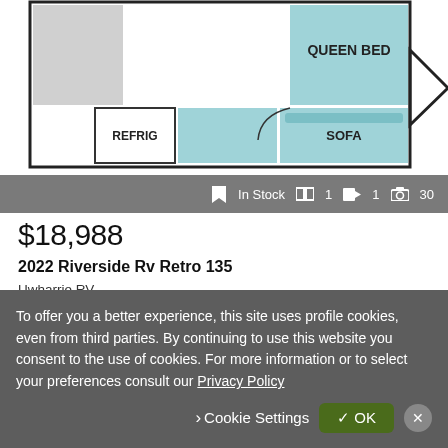[Figure (illustration): RV floor plan showing QUEEN BED area in teal/blue at top right, SOFA in teal at bottom center, REFRIG label at bottom left, with black outline walls and a triangular hitch at right.]
In Stock  1  1  30
$18,988
2022 Riverside Rv Retro 135
Uwharrie RV
Albemarle, NC - 295 mi. away
Chat
Email
Call
To offer you a better experience, this site uses profile cookies, even from third parties. By continuing to use this website you consent to the use of cookies. For more information or to select your preferences consult our Privacy Policy
Cookie Settings
OK